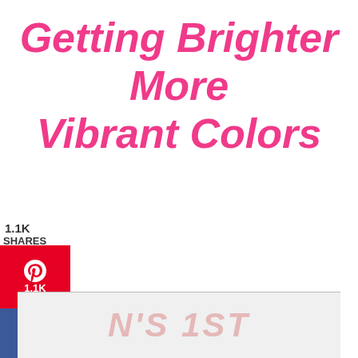Getting Brighter More Vibrant Colors
1.1K
SHARES
[Figure (infographic): Pinterest share button with heart/pin icon and count 1.1K, red background]
[Figure (infographic): Facebook share button with f icon, dark blue background]
[Figure (infographic): Twitter share button with bird icon, light blue background]
[Figure (photo): Partial bottom image showing text with red/pink text reading 'N'S 1ST' on a light/white background, partially cropped]